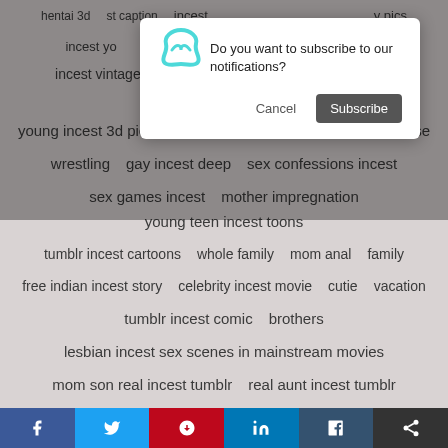[Figure (screenshot): Website tag cloud with adult content tags on a beige/gray background, partially obscured by a browser notification subscription modal dialog.]
incest caption
incest y pics
incest yo bankbang
incest vintage tube   incest porn audio   incest private   incest story
young incest 3d pics timblr   dirty talk   family incest japanese
wrestling   gay incest deep   sex confessions incest
sex games incest   mother impregnation   young teen incest toons
tumblr incest cartoons   whole family   mom anal   family
free indian incest story   celebrity incest movie   cutie   vacation
tumblr incest comic   brothers
lesbian incest sex scenes in mainstream movies
mom son real incest tumblr   real aunt incest tumblr
japanese incest game show fake   incest cum gifs   asian
f  t  p  in  t  share